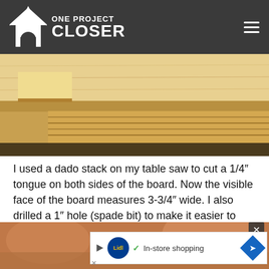ONE PROJECT CLOSER
[Figure (photo): Close-up photograph of wood boards with tongue joints and plywood edges on a workbench]
I used a dado stack on my table saw to cut a 1/4" tongue on both sides of the board. Now the visible face of the board measures 3-3/4" wide. I also drilled a 1" hole (spade bit) to make it easier to slide the back panel. This hole lines up with the knock-out on the Bota Box and can be used for carrying the boxed wine holder around.
[Figure (photo): Bottom portion of a workshop photo with an advertisement overlay showing Lidl in-store shopping banner]